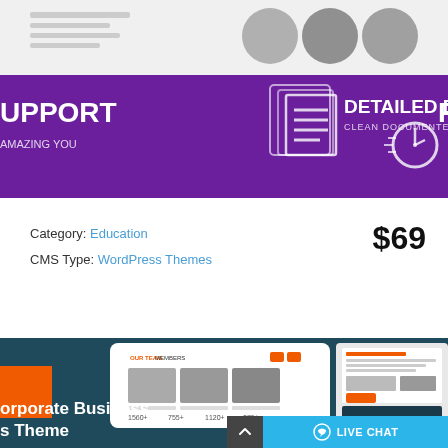[Figure (screenshot): Purple website theme banner showing 'UPPORT', 'AMAZING YOU', 'DETAILED DOCUMENTION - CLEAN DOCUMENTED THEME' with document icons, circular profile photos, and a stopwatch icon on dark purple background.]
Category: Education
CMS Type: WordPress Themes
$69
[Figure (screenshot): Dark teal corporate business website theme screenshot showing team member section with three people photos, stats (1960+, 755+, 1120+, 379+), an orange rectangle accent, and text 'Corporate Business s Theme'. Also shows a secondary device mockup on right side. Live Chat button at bottom right.]